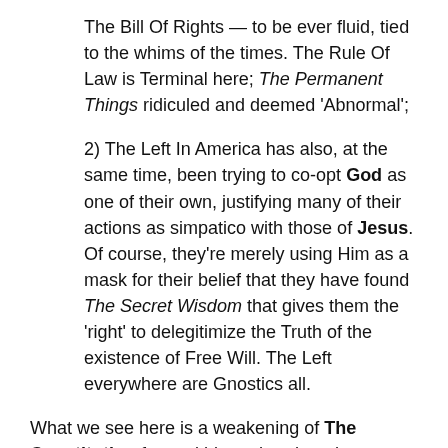The Bill Of Rights — to be ever fluid, tied to the whims of the times. The Rule Of Law is Terminal here; The Permanent Things ridiculed and deemed 'Abnormal';
2) The Left In America has also, at the same time, been trying to co-opt God as one of their own, justifying many of their actions as simpatico with those of Jesus. Of course, they're merely using Him as a mask for their belief that they have found The Secret Wisdom that gives them the 'right' to delegitimize the Truth of the existence of Free Will. The Left everywhere are Gnostics all.
What we see here is a weakening of The Constitution from within, rather than the overt destructive actions of the Left's Comrades to the North.